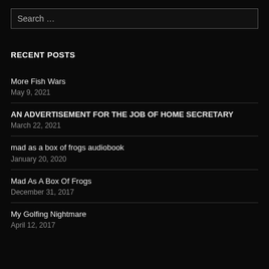Search …
RECENT POSTS
More Fish Wars
May 9, 2021
AN ADVERTISEMENT FOR THE JOB OF HOME SECRETARY
March 22, 2021
mad as a box of frogs audiobook
January 20, 2020
Mad As A Box Of Frogs
December 31, 2017
My Golfing Nightmare
April 12, 2017